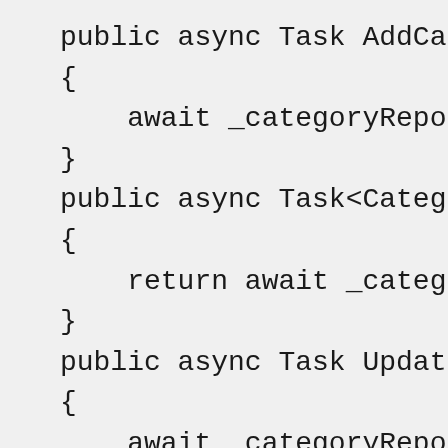public async Task AddCate
{
    await _categoryReposi
}
public async Task<Categor
{
    return await _categor
}
public async Task UpdateC
{
    await _categoryReposi
}
public async Task RemoveC
{